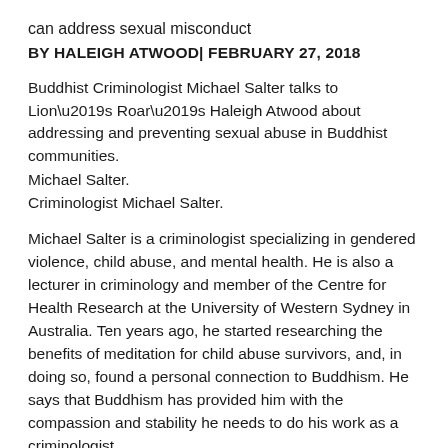can address sexual misconduct
BY HALEIGH ATWOOD| FEBRUARY 27, 2018
Buddhist Criminologist Michael Salter talks to Lion’s Roar’s Haleigh Atwood about addressing and preventing sexual abuse in Buddhist communities.
Michael Salter.
Criminologist Michael Salter.
Michael Salter is a criminologist specializing in gendered violence, child abuse, and mental health. He is also a lecturer in criminology and member of the Centre for Health Research at the University of Western Sydney in Australia. Ten years ago, he started researching the benefits of meditation for child abuse survivors, and, in doing so, found a personal connection to Buddhism. He says that Buddhism has provided him with the compassion and stability he needs to do his work as a criminologist.